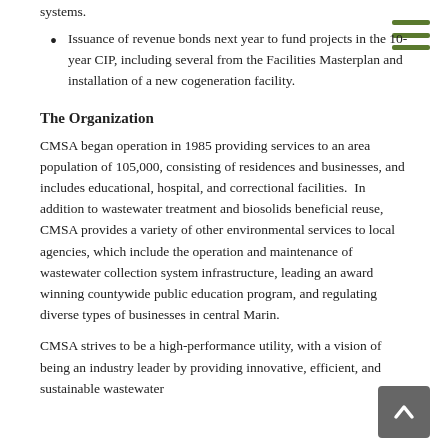systems.
Issuance of revenue bonds next year to fund projects in the 10-year CIP, including several from the Facilities Masterplan and installation of a new cogeneration facility.
The Organization
CMSA began operation in 1985 providing services to an area population of 105,000, consisting of residences and businesses, and includes educational, hospital, and correctional facilities.  In addition to wastewater treatment and biosolids beneficial reuse, CMSA provides a variety of other environmental services to local agencies, which include the operation and maintenance of wastewater collection system infrastructure, leading an award winning countywide public education program, and regulating diverse types of businesses in central Marin.
CMSA strives to be a high-performance utility, with a vision of being an industry leader by providing innovative, efficient, and sustainable wastewater